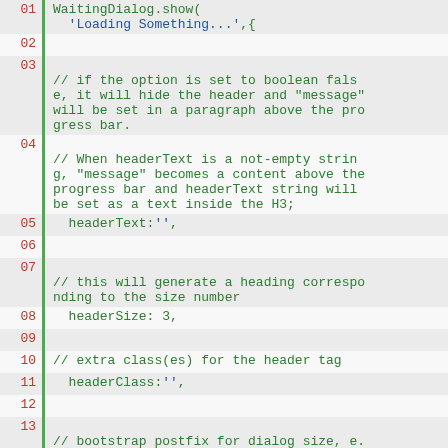Code listing showing WaitingDialog.show() options: lines 01-13 including headerText, headerSize, headerClass, and bootstrap postfix options.